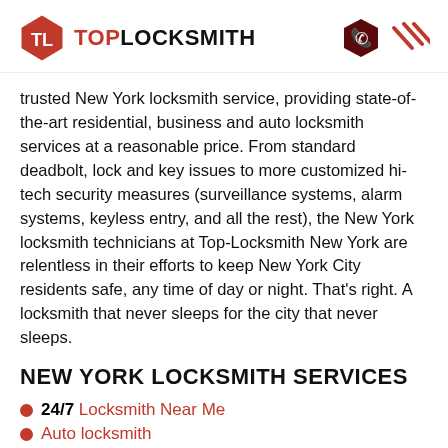TOP LOCKSMITH
trusted New York locksmith service, providing state-of-the-art residential, business and auto locksmith services at a reasonable price. From standard deadbolt, lock and key issues to more customized hi-tech security measures (surveillance systems, alarm systems, keyless entry, and all the rest), the New York locksmith technicians at Top-Locksmith New York are relentless in their efforts to keep New York City residents safe, any time of day or night. That's right. A locksmith that never sleeps for the city that never sleeps.
NEW YORK LOCKSMITH SERVICES
24/7 Locksmith Near Me
Auto locksmith